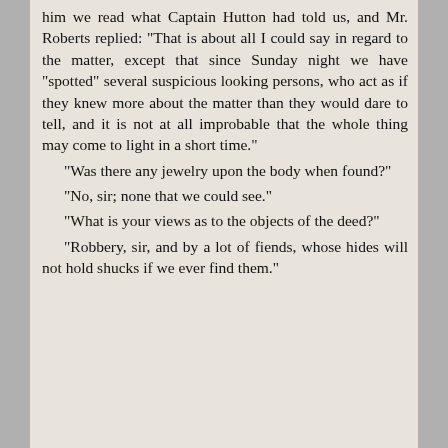him we read what Captain Hutton had told us, and Mr. Roberts replied: "That is about all I could say in regard to the matter, except that since Sunday night we have "spotted" several suspicious looking persons, who act as if they knew more about the matter than they would dare to tell, and it is not at all improbable that the whole thing may come to light in a short time."

"Was there any jewelry upon the body when found?"
"No, sir; none that we could see."
"What is your views as to the objects of the deed?"
"Robbery, sir, and by a lot of fiends, whose hides will not hold shucks if we ever find them."